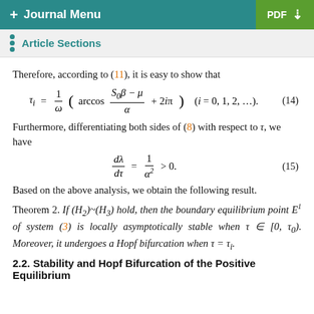+ Journal Menu | PDF
Article Sections
Therefore, according to (11), it is easy to show that
Furthermore, differentiating both sides of (8) with respect to τ, we have
Based on the above analysis, we obtain the following result.
Theorem 2. If (H₂)~(H₃) hold, then the boundary equilibrium point E¹ of system (3) is locally asymptotically stable when τ ∈ [0, τ₀). Moreover, it undergoes a Hopf bifurcation when τ = τᵢ.
2.2. Stability and Hopf Bifurcation of the Positive Equilibrium